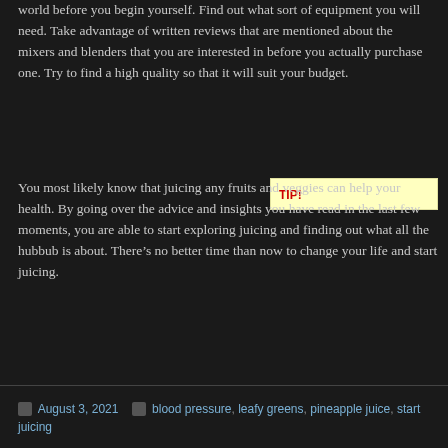world before you begin yourself. Find out what sort of equipment you will need. Take advantage of written reviews that are mentioned about the mixers and blenders that you are interested in before you actually purchase one. Try to find a high quality so that it will suit your budget.
[Figure (other): Yellow TIP! callout box with red bold TIP! text]
You most likely know that juicing any fruits and veggies can help your health. By going over the advice and insights you have read in the last few moments, you are able to start exploring juicing and finding out what all the hubbub is about. There’s no better time than now to change your life and start juicing.
August 3, 2021   blood pressure, leafy greens, pineapple juice, start juicing